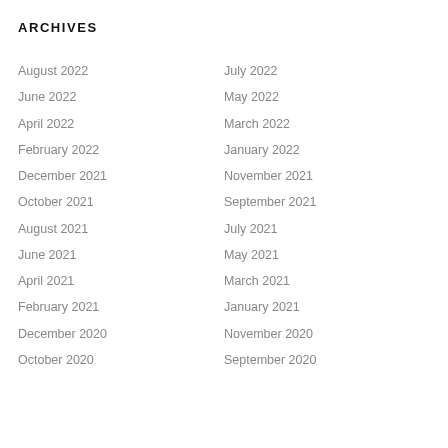ARCHIVES
August 2022
July 2022
June 2022
May 2022
April 2022
March 2022
February 2022
January 2022
December 2021
November 2021
October 2021
September 2021
August 2021
July 2021
June 2021
May 2021
April 2021
March 2021
February 2021
January 2021
December 2020
November 2020
October 2020
September 2020